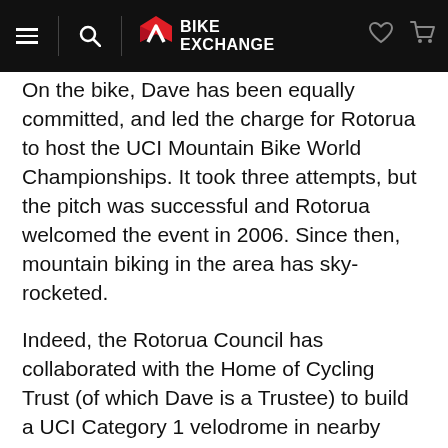BikeExchange
On the bike, Dave has been equally committed, and led the charge for Rotorua to host the UCI Mountain Bike World Championships. It took three attempts, but the pitch was successful and Rotorua welcomed the event in 2006. Since then, mountain biking in the area has sky-rocketed.
Indeed, the Rotorua Council has collaborated with the Home of Cycling Trust (of which Dave is a Trustee) to build a UCI Category 1 velodrome in nearby Cambridge. Dubbed the NZ Cycle Centre of Excellence, the venue will be home to the National Federation Bike NZ and capable of hosting World Cups and World Championships. It was officially opened by the Duke and Duchess of Cambridge on April 12th 2014. Rotorua's collaboration with the Home of Cycling Trust as the NZ Mountain bike Centre of Excellence is a huge feather to the community's